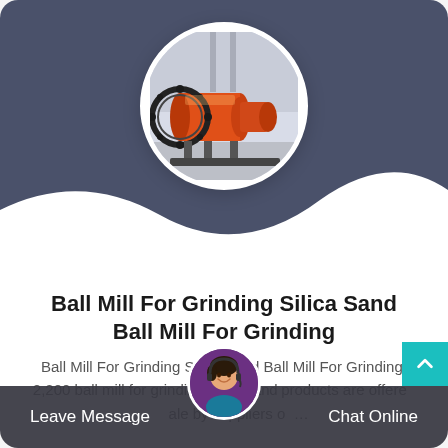[Figure (photo): Circular photo of an orange industrial ball mill machine in a factory setting, with a large black gear ring around the drum.]
Ball Mill For Grinding Silica Sand Ball Mill For Grinding
Ball Mill For Grinding Silica Sand Ball Mill For Grinding. 2,200 ball mill for grinding silica sand products are offered for sale by suppliers on...